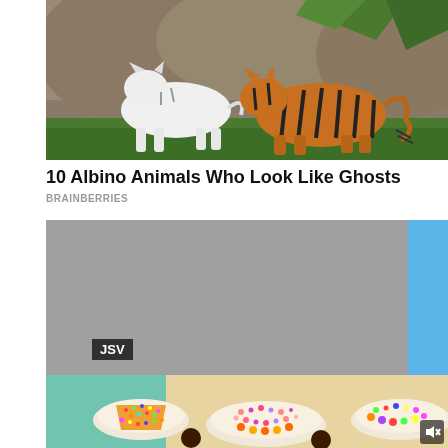[Figure (photo): Two tigers on green grass against rocky background — one white albino tiger on the left, one orange-striped tiger on the right, with palm fronds and rocks behind them]
10 Albino Animals Who Look Like Ghosts
BRAINBERRIES
[Figure (photo): Bottom composite image: upper portion is a gray/loading rectangle, lower portion shows colorful sprinkle-covered dessert dishes on a table. A JSV badge appears in lower-left of the image, and a mute icon (speaker with X) in lower-right corner.]